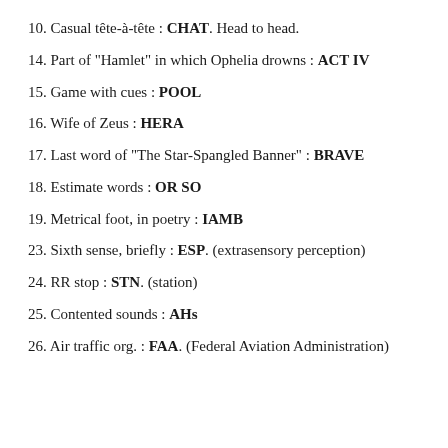10. Casual tête-à-tête : CHAT. Head to head.
14. Part of "Hamlet" in which Ophelia drowns : ACT IV
15. Game with cues : POOL
16. Wife of Zeus : HERA
17. Last word of "The Star-Spangled Banner" : BRAVE
18. Estimate words : OR SO
19. Metrical foot, in poetry : IAMB
23. Sixth sense, briefly : ESP. (extrasensory perception)
24. RR stop : STN. (station)
25. Contented sounds : AHs
26. Air traffic org. : FAA. (Federal Aviation Administration)